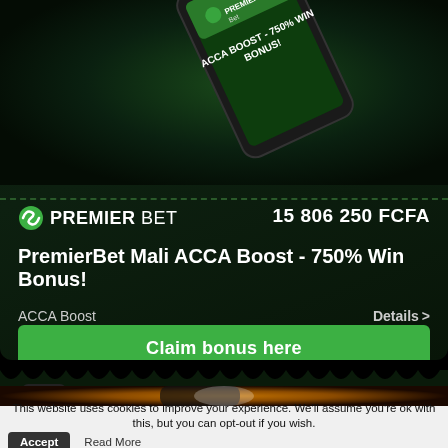[Figure (screenshot): PremierBet Mali ACCA Boost promotional card showing a smartphone with 'ACCA BOOST - 750% WIN BONUS!' text on screen, dark green background]
PREMIER Bet
15 806 250 FCFA
PremierBet Mali ACCA Boost - 750% Win Bonus!
ACCA Boost
Details >
Claim bonus here
[Figure (screenshot): Partial view of a second promotional image showing a phone on an orange/amber background]
This website uses cookies to improve your experience. We'll assume you're ok with this, but you can opt-out if you wish.   Accept   Read More